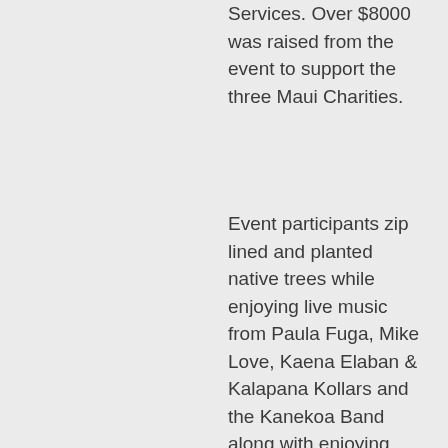Services. Over $8000 was raised from the event to support the three Maui Charities.
Event participants zip lined and planted native trees while enjoying live music from Paula Fuga, Mike Love, Kaena Elaban & Kalapana Kollars and the Kanekoa Band along with enjoying free pony rides from Maui Ponies and face painting for the Keiki, Shave Ice from Kona Shave ice and pizza from the Outrigger Pizza Company. Skyline employees and volunteers planted over 350 native trees including 'A'ali'i. Ohi'a and Koa along with removing